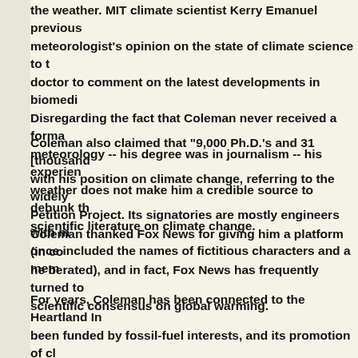the weather. MIT climate scientist Kerry Emanuel previously meteorologist's opinion on the state of climate science to doctor to comment on the latest developments in biomedi Disregarding the fact that Coleman never received a form meteorology -- his degree was in journalism -- his experie weather does not make him a credible source to debunk th scientific literature on climate change.
Coleman also claimed that "9,000 Ph.D.'s and 31 [thousan with his position on climate change, referring to the widely Petition Project. Its signatories are mostly engineers with once included the names of fictitious characters and a me
Coleman thanked Fox News for giving him a platform (in c he berated), and in fact, Fox News has frequently turned t scientific consensus on global warming.
For years, Coleman has been connected to the Heartland I been funded by fossil-fuel interests, and its promotion of Coleman was featured at a Heartland Institute climate conf year. Previously, he hosted four paid associates of Heartl change on the San Diego station where he worked as weat